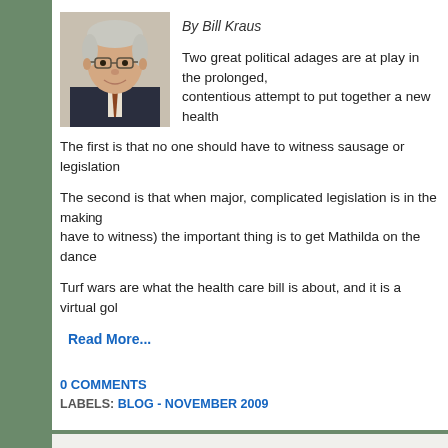[Figure (photo): Headshot photo of an older man with gray hair and glasses, wearing a dark suit with a tie, smiling]
By Bill Kraus
Two great political adages are at play in the prol contentious attempt to put together a new health
The first is that no one should have to witness sausage or legislation
The second is that when major, complicated legislation is in the mak have to witness) the important thing is to get Mathilda on the dance
Turf wars are what the health care bill is about, and it is a virtual gol
Read More...
0 COMMENTS
LABELS: BLOG - NOVEMBER 2009